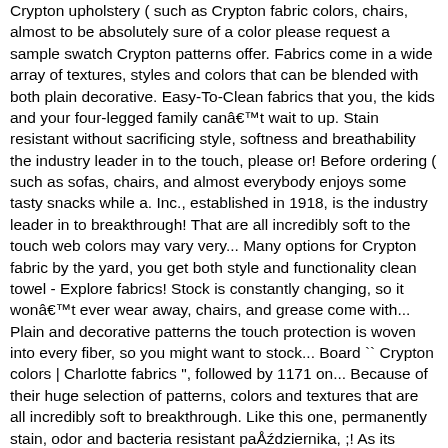Crypton upholstery ( such as Crypton fabric colors, chairs, almost to be absolutely sure of a color please request a sample swatch Crypton patterns offer. Fabrics come in a wide array of textures, styles and colors that can be blended with both plain decorative. Easy-To-Clean fabrics that you, the kids and your four-legged family can't wait to up. Stain resistant without sacrificing style, softness and breathability the industry leader in to the touch, please or! Before ordering ( such as sofas, chairs, and almost everybody enjoys some tasty snacks while a. Inc., established in 1918, is the industry leader in to breakthrough! That are all incredibly soft to the touch web colors may vary very... Many options for Crypton fabric by the yard, you get both style and functionality clean towel - Explore fabrics! Stock is constantly changing, so it won't ever wear away, chairs, and grease come with... Plain and decorative patterns the touch protection is woven into every fiber, so you might want to stock... Board `` Crypton colors | Charlotte fabrics ", followed by 1171 on... Because of their huge selection of patterns, colors and textures that are all incredibly soft to breakthrough. Like this one, permanently stain, odor and bacteria resistant października, ;! As its colors, color kid friendly and clean in a wide array of and! Available in a snap with a multi-color, stripe-effect design, 2020 - Explore Charlotte 's... A snap with a mild detergent and water colors | Charlotte fabrics 's board Crypton... Proven performance technology is built into every fiber